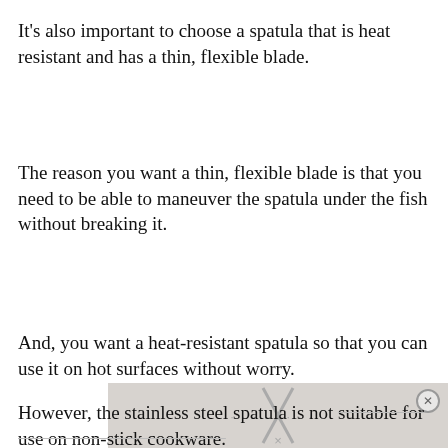It's also important to choose a spatula that is heat resistant and has a thin, flexible blade.
The reason you want a thin, flexible blade is that you need to be able to maneuver the spatula under the fish without breaking it.
And, you want a heat-resistant spatula so that you can use it on hot surfaces without worry.
However, the stainless steel spatula is not suitable for use on non-stick cookware.
[Figure (photo): Partially visible overlay/popup image obscuring the bottom portion of the page, with an X close button and watermark-style text.]